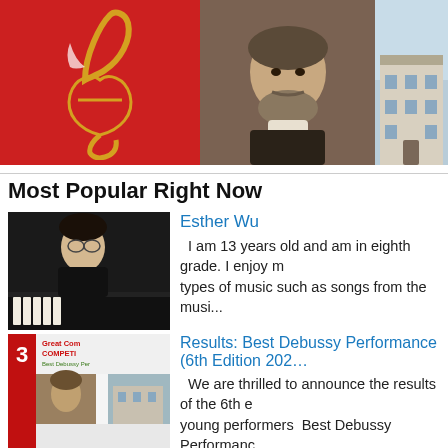[Figure (photo): Three images in a row: red background with golden treble clef symbol, portrait of a bearded man (classical composer), and a building exterior]
Most Popular Right Now
[Figure (photo): Photo of Esther Wu, a young woman near a piano]
Esther Wu
I am 13 years old and am in eighth grade. I enjoy many types of music such as songs from the musi...
[Figure (photo): Book/poster cover for Great Composers Competition - Best Debussy Performance]
Results: Best Debussy Performance (6th Edition 202...
We are thrilled to announce the results of the 6th edition young performers Best Debussy Performanc...
[Figure (photo): Photo of Samuel Wong, a young man in formal attire]
Samuel Wong
Baritone Samuel Wong is now studying BA (Music) majoring Vocal Performance under the tutelage of ...